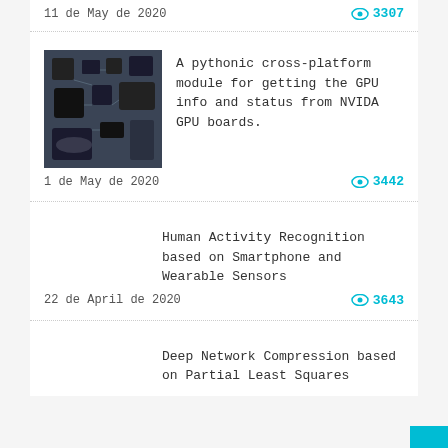11 de May de 2020
3307
[Figure (photo): Close-up photo of dark computer hardware / GPU circuit board components]
A pythonic cross-platform module for getting the GPU info and status from NVIDA GPU boards.
1 de May de 2020
3442
Human Activity Recognition based on Smartphone and Wearable Sensors
22 de April de 2020
3643
Deep Network Compression based on Partial Least Squares